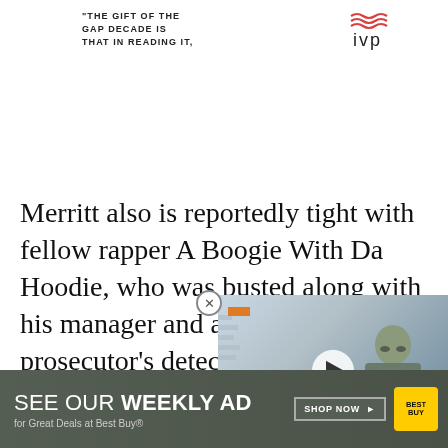"THE GIFT OF THE GAP DECADE IS THAT IN READING IT,
[Figure (logo): IVP logo with red wavy lines above text]
Merritt also is reportedly tight with fellow rapper A Boogie With Da Hoodie, who was busted along with his manager and a bodyguard by prosecutor's detectives investigating a sh... Teaneck nightclub in 2020.
[Figure (screenshot): Video player overlay showing a man in a suit with glasses, orange tag, nameplate reading Joe Disciho PROPERTYGURU GROUP CFO, and ticker PROPERTYGURU 2Q REVENUE RISES 44%]
FEATURED VIDEOS
[Figure (screenshot): Best Buy advertisement banner: SEE OUR WEEKLY AD for Great Deals at Best Buy® SHOP NOW with Best Buy logo]